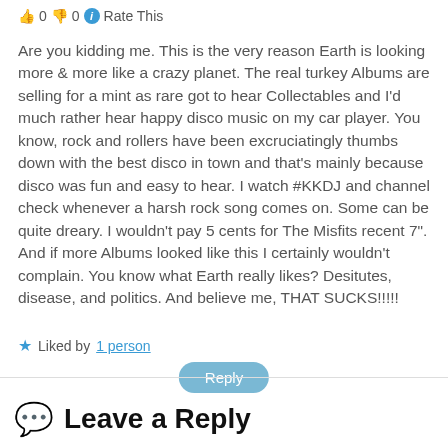👍 0 👎 0 ℹ Rate This
Are you kidding me. This is the very reason Earth is looking more & more like a crazy planet. The real turkey Albums are selling for a mint as rare got to hear Collectables and I'd much rather hear happy disco music on my car player. You know, rock and rollers have been excruciatingly thumbs down with the best disco in town and that's mainly because disco was fun and easy to hear. I watch #KKDJ and channel check whenever a harsh rock song comes on. Some can be quite dreary. I wouldn't pay 5 cents for The Misfits recent 7". And if more Albums looked like this I certainly wouldn't complain. You know what Earth really likes? Desitutes, disease, and politics. And believe me, THAT SUCKS!!!!!
★ Liked by 1 person
Reply
Leave a Reply